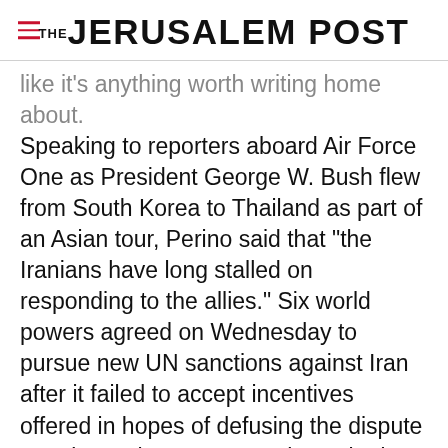THE JERUSALEM POST
like it's anything worth writing home about. Speaking to reporters aboard Air Force One as President George W. Bush flew from South Korea to Thailand as part of an Asian tour, Perino said that "the Iranians have long stalled on responding to the allies." Six world powers agreed on Wednesday to pursue new UN sanctions against Iran after it failed to accept incentives offered in hopes of defusing the dispute over its nuclear program, the United States said. The decision
Advertisement